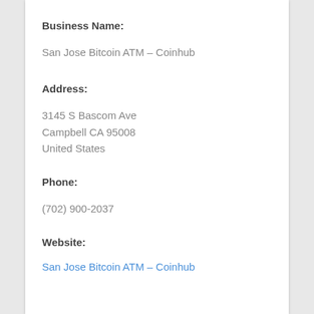Business Name:
San Jose Bitcoin ATM – Coinhub
Address:
3145 S Bascom Ave
Campbell CA 95008
United States
Phone:
(702) 900-2037
Website:
San Jose Bitcoin ATM – Coinhub